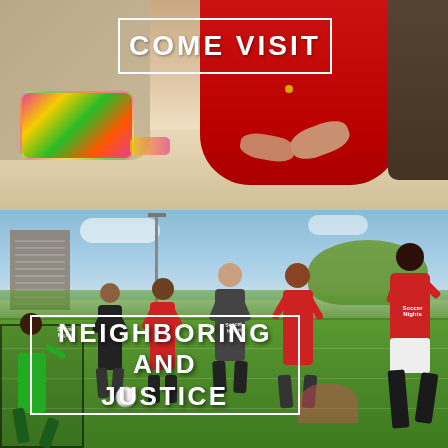[Figure (photo): Top half: indoor photo of people sitting at a table; person wearing red sweatshirt with colorful bag visible. White bordered text box overlaid with 'COME VISIT' in white uppercase letters.]
[Figure (photo): Bottom half: outdoor photo of children on a soccer field with arms raised in celebration, wearing red and green shirts. Building and trees visible in background. White bordered text box overlaid with 'NEIGHBORING AND JUSTICE' in white uppercase letters.]